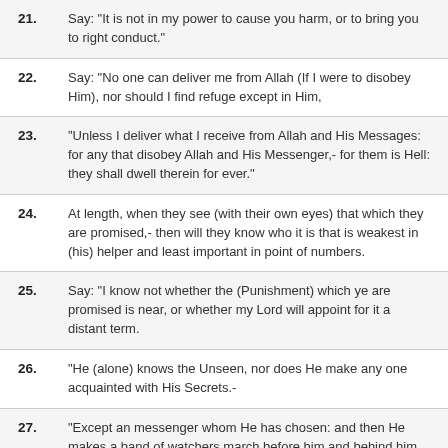21. Say: "It is not in my power to cause you harm, or to bring you to right conduct."
22. Say: "No one can deliver me from Allah (If I were to disobey Him), nor should I find refuge except in Him,
23. "Unless I deliver what I receive from Allah and His Messages: for any that disobey Allah and His Messenger,- for them is Hell: they shall dwell therein for ever."
24. At length, when they see (with their own eyes) that which they are promised,- then will they know who it is that is weakest in (his) helper and least important in point of numbers.
25. Say: "I know not whether the (Punishment) which ye are promised is near, or whether my Lord will appoint for it a distant term.
26. "He (alone) knows the Unseen, nor does He make any one acquainted with His Secrets.-
27. "Except an messenger whom He has chosen: and then He makes a band of watchers march before him and behind him,